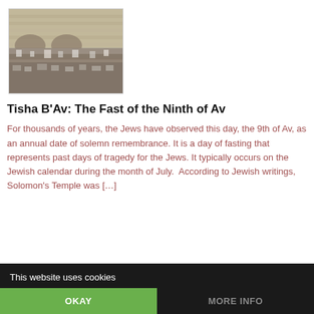[Figure (photo): Photograph of a large crowd of people gathered at the Western Wall (Kotel) in Jerusalem, with the ancient stone wall visible in the background.]
Tisha B'Av: The Fast of the Ninth of Av
For thousands of years, the Jews have observed this day, the 9th of Av, as an annual date of solemn remembrance. It is a day of fasting that represents past days of tragedy for the Jews. It typically occurs on the Jewish calendar during the month of July.  According to Jewish writings, Solomon's Temple was [...]
This website uses cookies
OKAY
MORE INFO